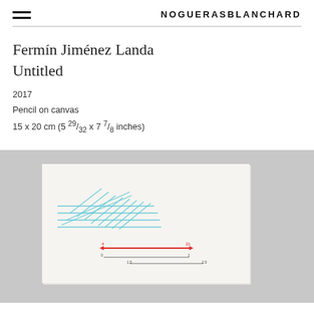NOGUERASBLANCHARD
Fermín Jiménez Landa
Untitled
2017
Pencil on canvas
15 x 20 cm (5 29/32 x 7 7/8 inches)
[Figure (photo): Small white canvas with pencil, blue, and red line drawings/measurements on a gray background]